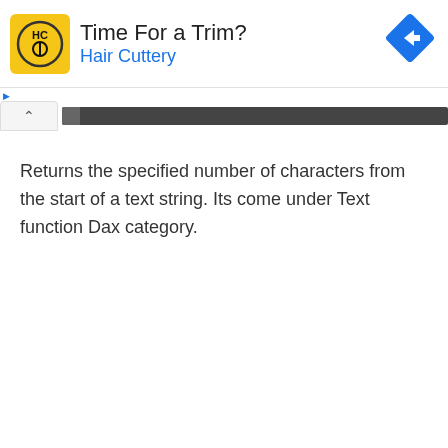[Figure (other): Advertisement banner for Hair Cuttery with yellow HC logo, headline 'Time For a Trim?' and blue navigation road sign icon]
Returns the specified number of characters from the start of a text string. Its come under Text function Dax category.